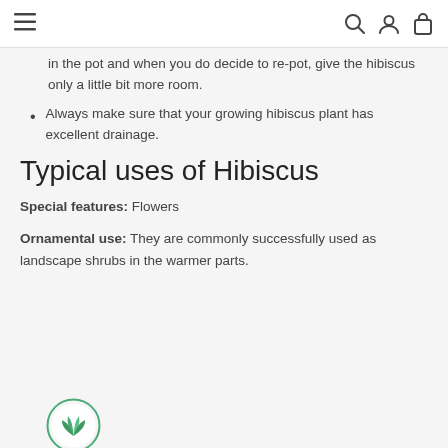≡  🔍 👤 🛍
in the pot and when you do decide to re-pot, give the hibiscus only a little bit more room.
Always make sure that your growing hibiscus plant has excellent drainage.
Typical uses of Hibiscus
Special features: Flowers
Ornamental use: They are commonly successfully used as landscape shrubs in the warmer parts.